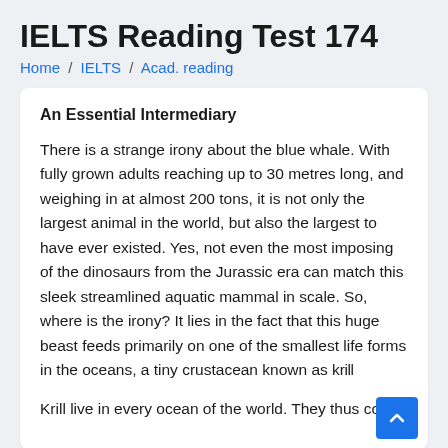IELTS Reading Test 174
Home / IELTS / Acad. reading
An Essential Intermediary
There is a strange irony about the blue whale. With fully grown adults reaching up to 30 metres long, and weighing in at almost 200 tons, it is not only the largest animal in the world, but also the largest to have ever existed. Yes, not even the most imposing of the dinosaurs from the Jurassic era can match this sleek streamlined aquatic mammal in scale. So, where is the irony? It lies in the fact that this huge beast feeds primarily on one of the smallest life forms in the oceans, a tiny crustacean known as krill
Krill live in every ocean of the world. They thus come